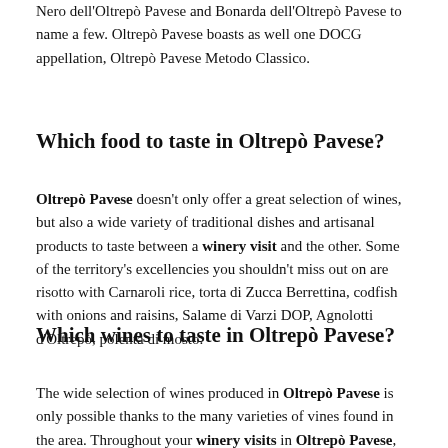Nero dell'Oltrepò Pavese and Bonarda dell'Oltrepò Pavese to name a few. Oltrepò Pavese boasts as well one DOCG appellation, Oltrepò Pavese Metodo Classico.
Which food to taste in Oltrepò Pavese?
Oltrepò Pavese doesn't only offer a great selection of wines, but also a wide variety of traditional dishes and artisanal products to taste between a winery visit and the other. Some of the territory's excellencies you shouldn't miss out on are risotto with Carnaroli rice, torta di Zucca Berrettina, codfish with onions and raisins, Salame di Varzi DOP, Agnolotti d'Oltrepò, polenta di mosto.
Which wines to taste in Oltrepò Pavese?
The wide selection of wines produced in Oltrepò Pavese is only possible thanks to the many varieties of vines found in the area. Throughout your winery visits in Oltrepò Pavese, you will come across several grape types. The